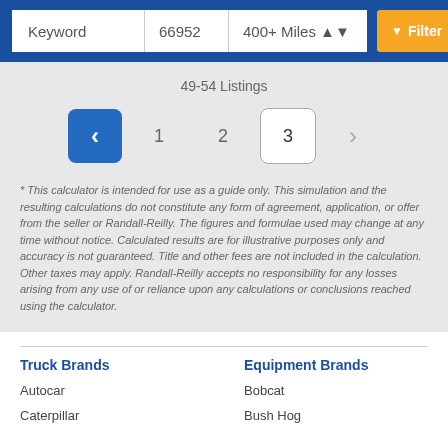Keyword | 66952 | 400+ Miles | Filter
49-54 Listings
Pagination: < 1 2 3 >
* This calculator is intended for use as a guide only. This simulation and the resulting calculations do not constitute any form of agreement, application, or offer from the seller or Randall-Reilly. The figures and formulae used may change at any time without notice. Calculated results are for illustrative purposes only and accuracy is not guaranteed. Title and other fees are not included in the calculation. Other taxes may apply. Randall-Reilly accepts no responsibility for any losses arising from any use of or reliance upon any calculations or conclusions reached using the calculator.
Truck Brands
Autocar
Caterpillar
Equipment Brands
Bobcat
Bush Hog